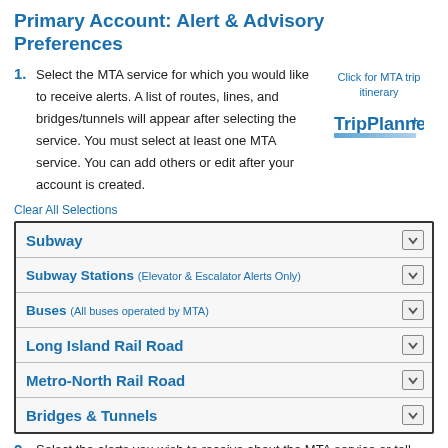Primary Account: Alert & Advisory Preferences
1. Select the MTA service for which you would like to receive alerts. A list of routes, lines, and bridges/tunnels will appear after selecting the service. You must select at least one MTA service. You can add others or edit after your account is created.
[Figure (logo): TripPlanner+ logo with text 'Click for MTA trip itinerary' above it and a blue gradient bar]
Clear All Selections
| Service | Expand |
| --- | --- |
| Subway | ↓ |
| Subway Stations (Elevator & Escalator Alerts Only) | ↓ |
| Buses (All buses operated by MTA) | ↓ |
| Long Island Rail Road | ↓ |
| Metro-North Rail Road | ↓ |
| Bridges & Tunnels | ↓ |
2. Select the alerts you wish to receive about the MTA service or toll